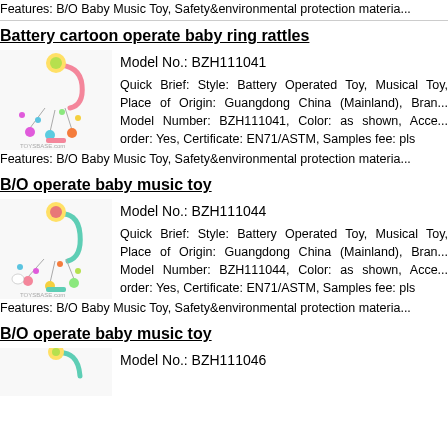Features: B/O Baby Music Toy, Safety&environmental protection materia...
Battery cartoon operate baby ring rattles
[Figure (photo): Baby mobile toy with pink arm, colorful hanging figures, toybase.com watermark]
Model No.: BZH111041
Quick Brief: Style: Battery Operated Toy, Musical Toy, Place of Origin: Guangdong China (Mainland), Brand... Model Number: BZH111041, Color: as shown, Accept order: Yes, Certificate: EN71/ASTM, Samples fee: pls...
Features: B/O Baby Music Toy, Safety&environmental protection materia...
B/O operate baby music toy
[Figure (photo): Baby mobile toy with teal/mint arm, colorful hanging figures, toybase.com watermark]
Model No.: BZH111044
Quick Brief: Style: Battery Operated Toy, Musical Toy, Place of Origin: Guangdong China (Mainland), Brand... Model Number: BZH111044, Color: as shown, Accept order: Yes, Certificate: EN71/ASTM, Samples fee: pls...
Features: B/O Baby Music Toy, Safety&environmental protection materia...
B/O operate baby music toy
[Figure (photo): Baby mobile toy partial view at bottom]
Model No.: BZH111046